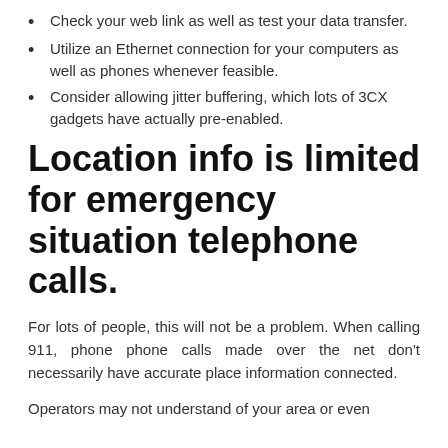Check your web link as well as test your data transfer.
Utilize an Ethernet connection for your computers as well as phones whenever feasible.
Consider allowing jitter buffering, which lots of 3CX gadgets have actually pre-enabled.
Location info is limited for emergency situation telephone calls.
For lots of people, this will not be a problem. When calling 911, phone phone calls made over the net don't necessarily have accurate place information connected.
Operators may not understand of your area or even